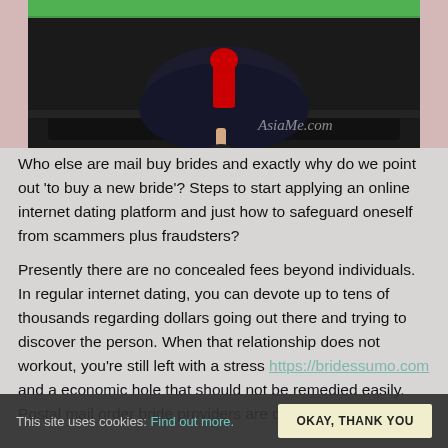[Figure (photo): Photo of a woman in a black dress standing next to a car, with AsiaMе.com watermark]
Who else are mail buy brides and exactly why do we point out 'to buy a new bride'? Steps to start applying an online internet dating platform and just how to safeguard oneself from scammers plus fraudsters?
Presently there are no concealed fees beyond individuals. In regular internet dating, you can devote up to tens of thousands regarding dollars going out there and trying to discover the person. When that relationship does not workout, you're still left with a stress https://bridessumo.com and a economic hole that should not be remedied easily. Postal mail order bride providers are quite related to
This site uses cookies: Find out more. OKAY, THANK YOU